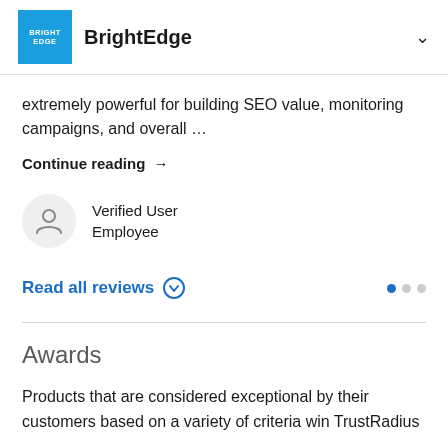BrightEdge
extremely powerful for building SEO value, monitoring campaigns, and overall …
Continue reading →
Verified User
Employee
Read all reviews
Awards
Products that are considered exceptional by their customers based on a variety of criteria win TrustRadius